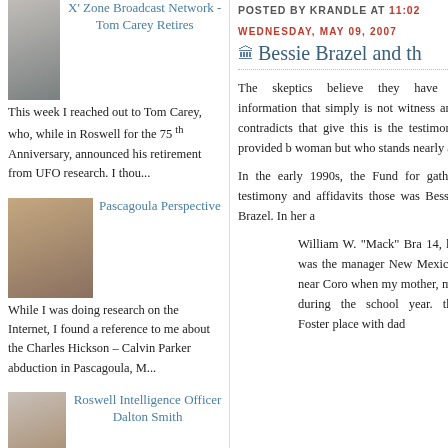[Figure (photo): Thumbnail photo of older white-haired person at desk]
X' Zone Broadcast Network - Tom Carey Retires
This week I reached out to Tom Carey, who, while in Roswell for the 75 th Anniversary, announced his retirement from UFO research. I thou...
[Figure (photo): Thumbnail photo of young couple]
Pascagoula Perspective
While I was doing research on the Internet, I found a reference to me about the Charles Hickson – Calvin Parker abduction in Pascagoula, M...
[Figure (photo): Thumbnail photo of older man with glasses]
Roswell Intelligence Officer Dalton Smith
POSTED BY KRANDLE AT 11:02
WEDNESDAY, MAY 09, 2007
Bessie Brazel and th
The skeptics believe they have a information that simply is not witness and contradicts that give this is the testimony provided b woman but who stands nearly al
In the early 1990s, the Fund for gather testimony and affidavits those was Bessie Brazel. In her a
William W. "Mack" Bra 14, he was the manager New Mexico, near Coro when my mother, my during the school year. the Foster place with dad